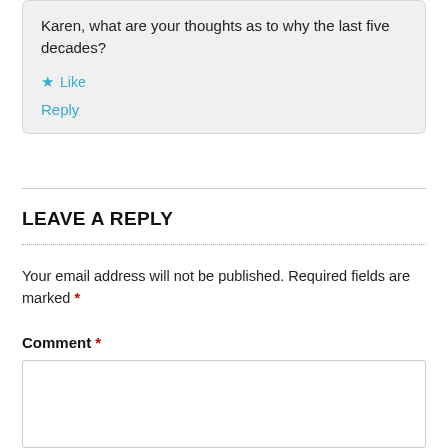Karen, what are your thoughts as to why the last five decades?
★ Like
Reply
LEAVE A REPLY
Your email address will not be published. Required fields are marked *
Comment *